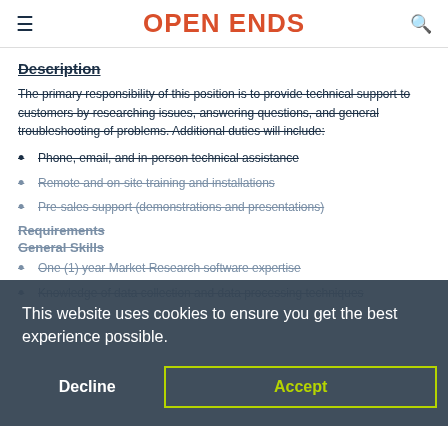OPEN ENDS
Description
The primary responsibility of this position is to provide technical support to customers by researching issues, answering questions, and general troubleshooting of problems. Additional duties will include:
Phone, email, and in-person technical assistance
Remote and on-site training and installations
Pre-sales support (demonstrations and presentations)
Requirements
General Skills
One (1) year Market Research software expertise
Knowledge of data collection and data processing techniques
This website uses cookies to ensure you get the best experience possible.
Decline  Accept